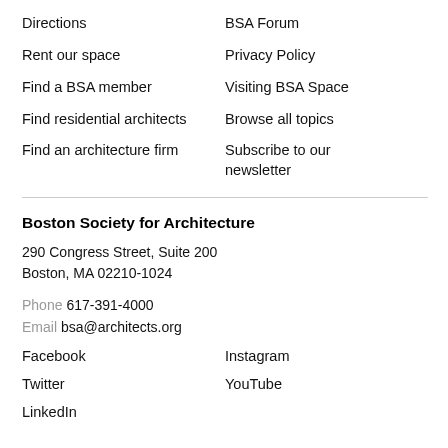Directions
BSA Forum
Rent our space
Privacy Policy
Find a BSA member
Visiting BSA Space
Find residential architects
Browse all topics
Find an architecture firm
Subscribe to our newsletter
Boston Society for Architecture
290 Congress Street, Suite 200
Boston, MA 02210-1024
Phone 617-391-4000
Email bsa@architects.org
Facebook
Instagram
Twitter
YouTube
LinkedIn